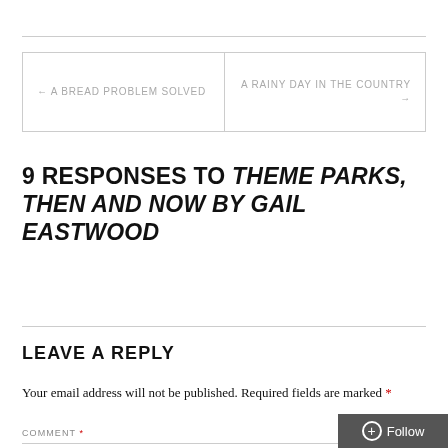← A BREAD PROBLEM SOLVED
A RAINY DAY IN THE COUNTRY →
9 RESPONSES TO THEME PARKS, THEN AND NOW BY GAIL EASTWOOD
LEAVE A REPLY
Your email address will not be published. Required fields are marked *
COMMENT *